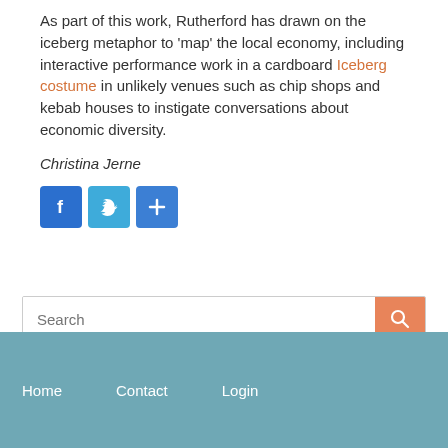As part of this work, Rutherford has drawn on the iceberg metaphor to 'map' the local economy, including interactive performance work in a cardboard Iceberg costume in unlikely venues such as chip shops and kebab houses to instigate conversations about economic diversity.
Christina Jerne
[Figure (other): Social sharing icons: Facebook (blue), Twitter (light blue), Share/Plus (blue)]
Search
Home   Contact   Login